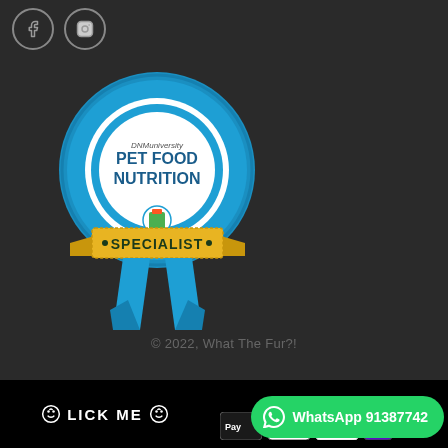[Figure (logo): Facebook icon in circle]
[Figure (logo): Instagram icon in circle]
[Figure (illustration): Blue rosette award badge with 'DNM university PET FOOD NUTRITION SPECIALIST' text and ribbon, with a small pet food icon at bottom center]
© 2022, What The Fur?!
[Figure (logo): LICK ME text with smiley face icons in black bar]
[Figure (logo): Payment icons: Apple Pay, Google Pay, Mastercard, and another payment option]
[Figure (logo): WhatsApp button with phone number 91387742]